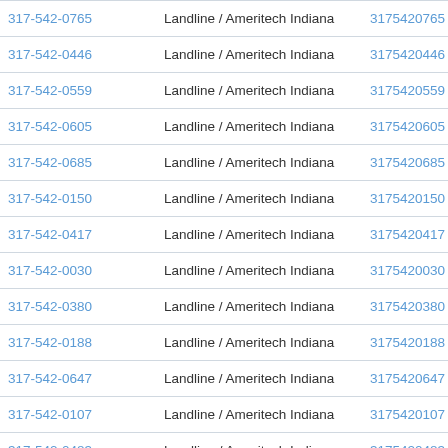| Phone | Type / Carrier | Number | Action |
| --- | --- | --- | --- |
| 317-542-0765 | Landline / Ameritech Indiana | 3175420765 | View R |
| 317-542-0446 | Landline / Ameritech Indiana | 3175420446 | View R |
| 317-542-0559 | Landline / Ameritech Indiana | 3175420559 | View R |
| 317-542-0605 | Landline / Ameritech Indiana | 3175420605 | View R |
| 317-542-0685 | Landline / Ameritech Indiana | 3175420685 | View R |
| 317-542-0150 | Landline / Ameritech Indiana | 3175420150 | View R |
| 317-542-0417 | Landline / Ameritech Indiana | 3175420417 | View R |
| 317-542-0030 | Landline / Ameritech Indiana | 3175420030 | View R |
| 317-542-0380 | Landline / Ameritech Indiana | 3175420380 | View R |
| 317-542-0188 | Landline / Ameritech Indiana | 3175420188 | View R |
| 317-542-0647 | Landline / Ameritech Indiana | 3175420647 | View R |
| 317-542-0107 | Landline / Ameritech Indiana | 3175420107 | View R |
| 317-542-0483 | Landline / Ameritech Indiana | 3175420483 | View R |
| 317-542-0777 | Landline / Ameritech Indiana | 3175420777 | View R |
| 317-542-0463 | Landline / Ameritech Indiana | 3175420463 | ▲ v R |
| 317-542-0838 | Landline / Ameritech Indiana | 3175420838 | .ew R |
| 317-542-0856 | Landline / Ameritech Indiana | 3175420856 | View R |
| 317-542-0612 | Landline / Ameritech Indiana | 3175420612 | View R |